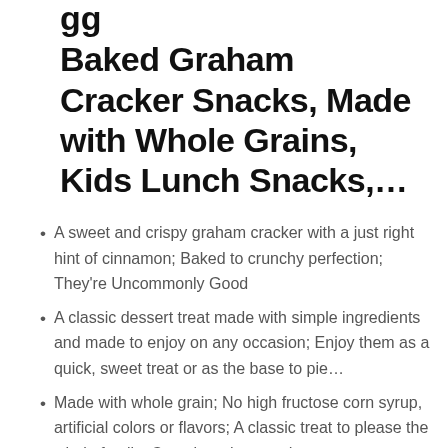gg Baked Graham Cracker Snacks, Made with Whole Grains, Kids Lunch Snacks,...
A sweet and crispy graham cracker with a just right hint of cinnamon; Baked to crunchy perfection; They're Uncommonly Good
A classic dessert treat made with simple ingredients and made to enjoy on any occasion; Enjoy them as a quick, sweet treat or as the base to pie…
Made with whole grain; No high fructose corn syrup, artificial colors or flavors; A classic treat to please the whole family; Contains wheat and soy…
A delicious anytime dessert snack; Enjoy with an ice-cold glass of milk